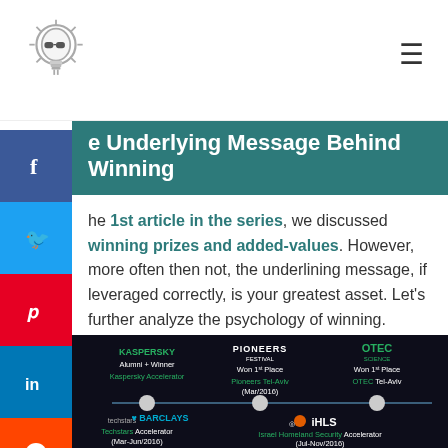Logo and navigation header
e Underlying Message Behind Winning
he 1st article in the series, we discussed winning prizes and added-values. However, more often then not, the underlining message, if leveraged correctly, is your greatest asset. Let's further analyze the psychology of winning.
[Figure (infographic): Dark background timeline infographic showing startup competition wins: Kaspersky Accelerator Alumni+Winner, Pioneers Tel-Aviv Won 1st Place (Mar/2016), OTEC Tel-Aviv Won 1st Place, Techstars Barclays Accelerator (Mar-Jun/2016), Israel Homeland Security Accelerator (Jul-Nov/2016)]